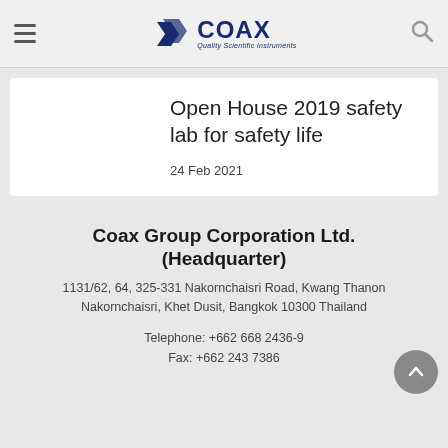COAX Quality Scientific Instruments
Open House 2019 safety lab for safety life
24 Feb 2021
Coax Group Corporation Ltd. (Headquarter)
1131/62, 64, 325-331 Nakornchaisri Road, Kwang Thanon Nakornchaisri, Khet Dusit, Bangkok 10300 Thailand
Telephone: +662 668 2436-9
Fax: +662 243 7386